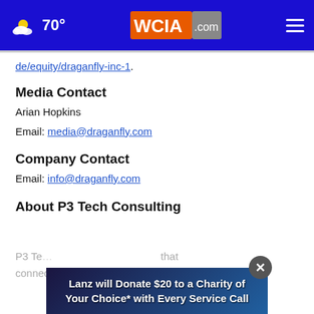WCIA.com — 70° weather header with navigation
de/equity/draganfly-inc-1.
Media Contact
Arian Hopkins
Email: media@draganfly.com
Company Contact
Email: info@draganfly.com
About P3 Tech Consulting
P3 Te... that connects people who have a passion for
[Figure (other): Advertisement banner: 'Lanz will Donate $20 to a Charity of Your Choice* with Every Service Call' with close button overlay]